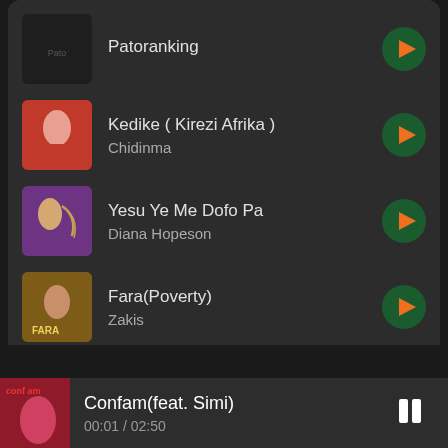Patoranking
Kedike ( Kirezi Afrika ) / Chidinma
Yesu Ye Me Dofo Pa / Diana Hopeson
Fara(Poverty) / Zakis
Confam(feat. Simi) 00:01 / 02:50